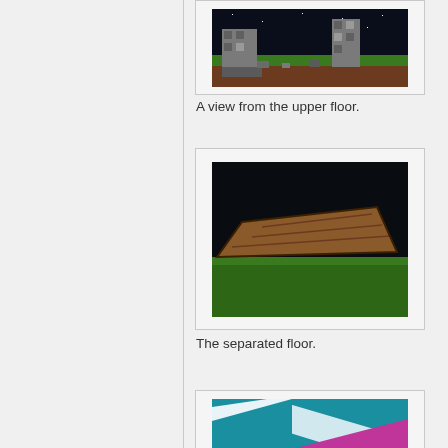[Figure (screenshot): A Minecraft scene viewed from the upper floor, showing stone pillars/ruins against a dark night sky with green grass and brown dirt ground.]
A view from the upper floor.
[Figure (screenshot): A Minecraft scene showing a separated floor area — a brown/dirt platform floating above green grass against a very dark background.]
The separated floor.
[Figure (screenshot): A partially visible Minecraft or game screenshot showing teal/blue and pink/magenta colors, cropped at the bottom of the page.]